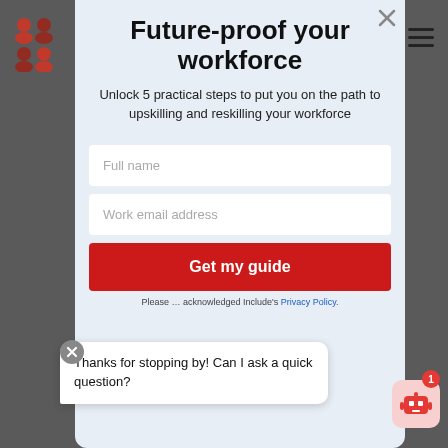[Figure (screenshot): Blurred dark background with partially visible webpage]
[Figure (logo): Red and dark red grid of people icons (2x2 grid)]
Future-proof your workforce
Unlock 5 practical steps to put you on the path to upskilling and reskilling your workforce
Full name
Work email address
Get my guide
Thanks for stopping by! Can I ask a quick question?
Please ... acknowledged Include's Privacy Policy.